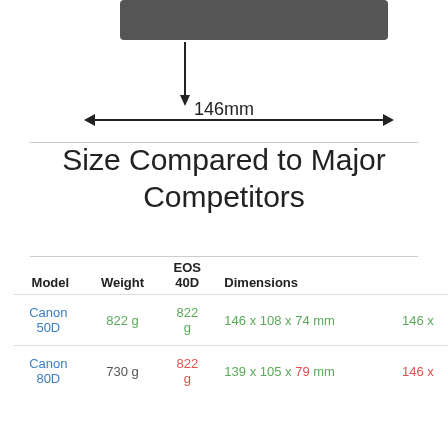[Figure (engineering-diagram): Dimension arrow showing 146mm width of a camera body, with a vertical arrow pointing down and a horizontal double-headed arrow spanning the width labeled 146mm]
Size Compared to Major Competitors
| Model | Weight | EOS 40D | Dimensions |  |
| --- | --- | --- | --- | --- |
| Canon 50D | 822 g | 822 g | 146 x 108 x 74 mm | 146 x |
| Canon 80D | 730 g | 822 g | 139 x 105 x 79 mm | 146 x |